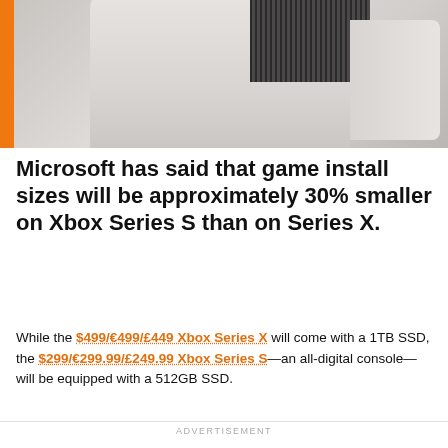[Figure (photo): Close-up photo of an Xbox Series S white gaming console with black ventilation grille on top, shown against a light gray background with an orange vertical bar on the left edge]
Microsoft has said that game install sizes will be approximately 30% smaller on Xbox Series S than on Series X.
While the $499/€499/£449 Xbox Series X will come with a 1TB SSD, the $299/€299.99/£249.99 Xbox Series S—an all-digital console—will be equipped with a 512GB SSD.
ADVERTISEMENT